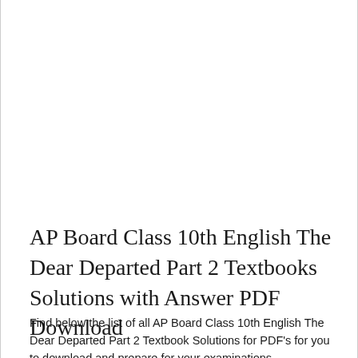AP Board Class 10th English The Dear Departed Part 2 Textbooks Solutions with Answer PDF Download
Find below the list of all AP Board Class 10th English The Dear Departed Part 2 Textbook Solutions for PDF's for you to download and prepare for your examinations...